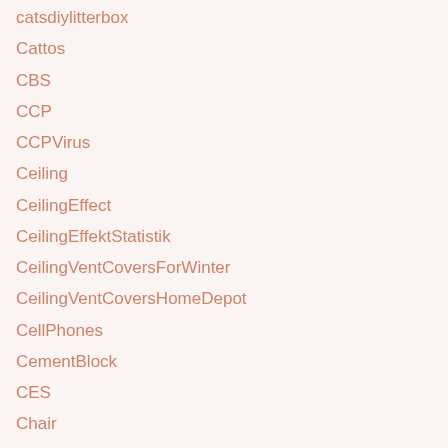catsdiylitterbox
Cattos
CBS
CCP
CCPVirus
Ceiling
CeilingEffect
CeilingEffektStatistik
CeilingVentCoversForWinter
CeilingVentCoversHomeDepot
CellPhones
CementBlock
CES
Chair
chairs